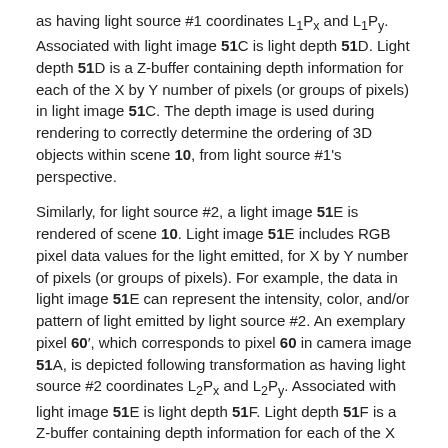as having light source #1 coordinates L₁Pₓ and L₁P_y. Associated with light image 51C is light depth 51D. Light depth 51D is a Z-buffer containing depth information for each of the X by Y number of pixels (or groups of pixels) in light image 51C. The depth image is used during rendering to correctly determine the ordering of 3D objects within scene 10, from light source #1's perspective.
Similarly, for light source #2, a light image 51E is rendered of scene 10. Light image 51E includes RGB pixel data values for the light emitted, for X by Y number of pixels (or groups of pixels). For example, the data in light image 51E can represent the intensity, color, and/or pattern of light emitted by light source #2. An exemplary pixel 60', which corresponds to pixel 60 in camera image 51A, is depicted following transformation as having light source #2 coordinates L₂Pₓ and L₂P_y. Associated with light image 51E is light depth 51F. Light depth 51F is a Z-buffer containing depth information for each of the X by Y number of pixels in light image 51E. The depth image is used during rendering to correctly determine the ordering of 3D objects within scene 10, from light source #2's